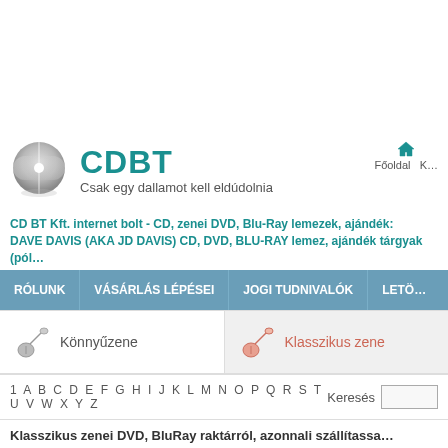[Figure (logo): CDBT website logo with a grey CD disc icon, teal CDBT title text, and subtitle 'Csak egy dallamot kell eldúdolnia', with a home icon and navigation links on the right]
CD BT Kft. internet bolt - CD, zenei DVD, Blu-Ray lemezek, ajándék:
DAVE DAVIS (AKA JD DAVIS) CD, DVD, BLU-RAY lemez, ajándék tárgyak (pól…
| RÓLUNK | VÁSÁRLÁS LÉPÉSEI | JOGI TUDNIVALÓK | LETÖ… |
| --- | --- | --- | --- |
[Figure (other): Category navigation row with Könnyűzene (light music) and Klasszikus zene (classical music) guitar icons]
1 A B C D E F G H I J K L M N O P Q R S T U V W X Y Z    Keresés
Klasszikus zenei DVD, BluRay raktárról, azonnali szállítassa…
Keresés: DAVE DAVIS (AKA JD DAVIS) ( 2 talál…